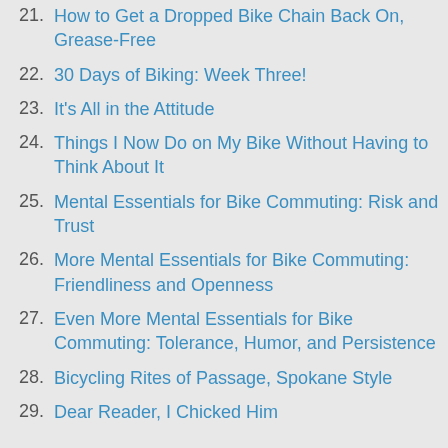21. How to Get a Dropped Bike Chain Back On, Grease-Free
22. 30 Days of Biking: Week Three!
23. It's All in the Attitude
24. Things I Now Do on My Bike Without Having to Think About It
25. Mental Essentials for Bike Commuting: Risk and Trust
26. More Mental Essentials for Bike Commuting: Friendliness and Openness
27. Even More Mental Essentials for Bike Commuting: Tolerance, Humor, and Persistence
28. Bicycling Rites of Passage, Spokane Style
29. Dear Reader, I Chicked Him